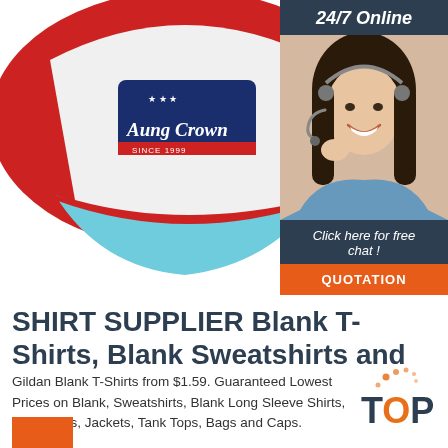[Figure (photo): A trucker-style baseball cap with white front, red mesh back and brim (light blue bill), featuring a navy/red embroidered patch that reads 'Aung Crown SINCE 1999' with stars]
[Figure (photo): A smiling woman wearing a headset, representing a 24/7 online support agent. Sidebar widget with dark navy background, '24/7 Online' header, agent photo, 'Click here for free chat!' text, and orange QUOTATION button]
SHIRT SUPPLIER Blank T-Shirts, Blank Sweatshirts and
Gildan Blank T-Shirts from $1.59. Guaranteed Lowest Prices on Blank, Sweatshirts, Blank Long Sleeve Shirts, Polo Shirts, Jackets, Tank Tops, Bags and Caps.
[Figure (logo): Orange and dark dotted 'TOP' badge graphic in bottom-right area]